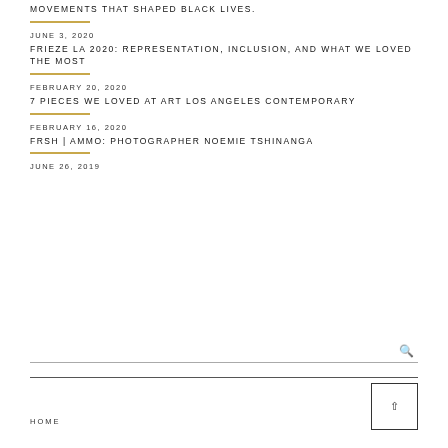MOVEMENTS THAT SHAPED BLACK LIVES.
JUNE 3, 2020
FRIEZE LA 2020: REPRESENTATION, INCLUSION, AND WHAT WE LOVED THE MOST
FEBRUARY 20, 2020
7 PIECES WE LOVED AT ART LOS ANGELES CONTEMPORARY
FEBRUARY 16, 2020
FRSH | AMMO: PHOTOGRAPHER NOEMIE TSHINANGA
JUNE 26, 2019
HOME